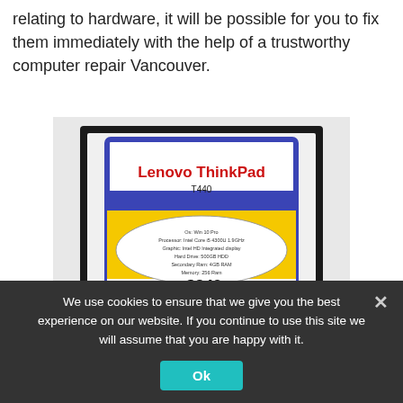relating to hardware, it will be possible for you to fix them immediately with the help of a trustworthy computer repair Vancouver.
[Figure (photo): A Lenovo ThinkPad T440 laptop open on a white surface, with a price tag sign on the screen showing 'Lenovo ThinkPad T440' in red lettering on a blue and yellow background, listing specs and priced at $249.]
We use cookies to ensure that we give you the best experience on our website. If you continue to use this site we will assume that you are happy with it.